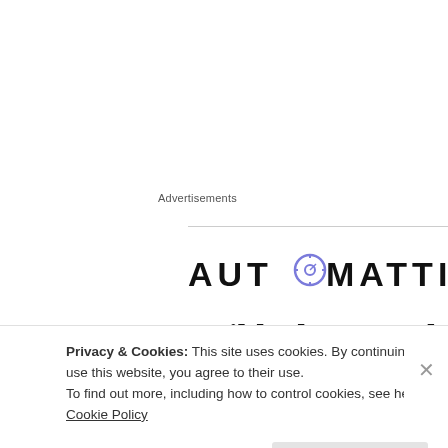Advertisements
[Figure (logo): Automattic logo with circular icon replacing the O, followed by text 'Build a better web']
someone on March 25, 2009 at 10:46 am
i think this says it all
Privacy & Cookies: This site uses cookies. By continuing to use this website, you agree to their use.
To find out more, including how to control cookies, see here: Cookie Policy